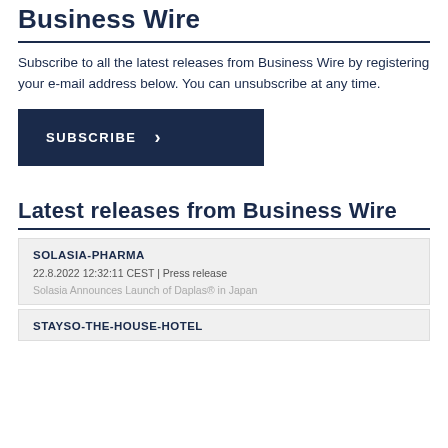Business Wire
Subscribe to all the latest releases from Business Wire by registering your e-mail address below. You can unsubscribe at any time.
SUBSCRIBE >
Latest releases from Business Wire
SOLASIA-PHARMA
22.8.2022 12:32:11 CEST | Press release
Solasia Announces Launch of Daplas® in Japan
STAYSO-THE-HOUSE-HOTEL